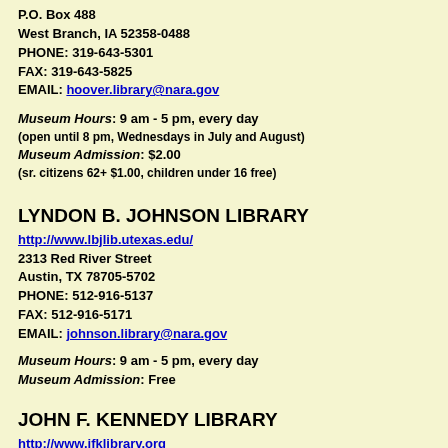P.O. Box 488
West Branch, IA 52358-0488
PHONE: 319-643-5301
FAX: 319-643-5825
EMAIL: hoover.library@nara.gov
Museum Hours: 9 am - 5 pm, every day
(open until 8 pm, Wednesdays in July and August)
Museum Admission: $2.00
(sr. citizens 62+ $1.00, children under 16 free)
LYNDON B. JOHNSON LIBRARY
http://www.lbjlib.utexas.edu/
2313 Red River Street
Austin, TX 78705-5702
PHONE: 512-916-5137
FAX: 512-916-5171
EMAIL: johnson.library@nara.gov
Museum Hours: 9 am - 5 pm, every day
Museum Admission: Free
JOHN F. KENNEDY LIBRARY
http://www.jfklibrary.org
Columbia Point